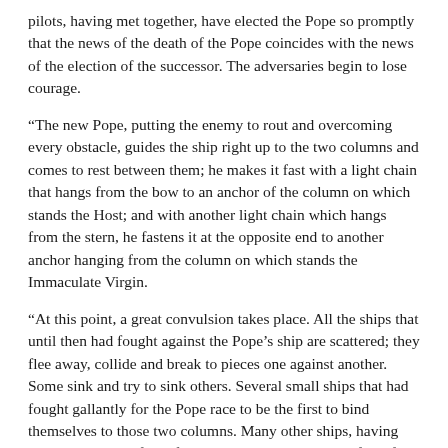pilots, having met together, have elected the Pope so promptly that the news of the death of the Pope coincides with the news of the election of the successor. The adversaries begin to lose courage.
“The new Pope, putting the enemy to rout and overcoming every obstacle, guides the ship right up to the two columns and comes to rest between them; he makes it fast with a light chain that hangs from the bow to an anchor of the column on which stands the Host; and with another light chain which hangs from the stern, he fastens it at the opposite end to another anchor hanging from the column on which stands the Immaculate Virgin.
“At this point, a great convulsion takes place. All the ships that until then had fought against the Pope’s ship are scattered; they flee away, collide and break to pieces one against another. Some sink and try to sink others. Several small ships that had fought gallantly for the Pope race to be the first to bind themselves to those two columns. Many other ships, having retreated through fear of the battle, cautiously watch from far away; the wrecks of the broken ships having been scattered in the whirlpools of the sea, they in their turn sail in good earnest to those two columns, and having